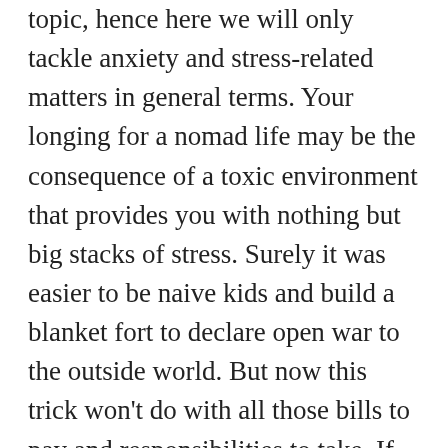topic, hence here we will only tackle anxiety and stress-related matters in general terms. Your longing for a nomad life may be the consequence of a toxic environment that provides you with nothing but big stacks of stress. Surely it was easier to be naive kids and build a blanket fort to declare open war to the outside world. But now this trick won't do with all those bills to pay and responsibilities to take. If you feel like you're strikingly bad at managing stress and anxiety, take the time to consider how a nomad life could affect your coping mechanisms. The transition into this new lifestyle could finally give you a way out of a constricting job and allow you to invest in something that better responds to your preferences and skills. But as we mentioned before, Digital Nomadism is a way of life, so your work won't disappear under a pile of sand or behind a beautiful